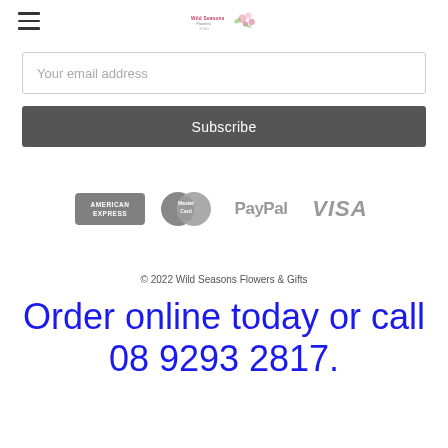[Figure (logo): Wild Seasons Flowers & Gifts logo with floral graphic]
Your email address
Subscribe
[Figure (other): Payment method icons: American Express, MasterCard, PayPal, VISA]
© 2022 Wild Seasons Flowers & Gifts
Order online today or call 08 9293 2817.